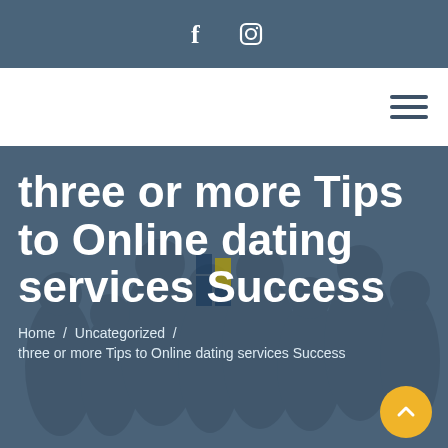f  [instagram icon]
[Figure (other): Hamburger menu icon (three horizontal lines) in top-right navigation bar]
three or more Tips to Online dating services Success
Home / Uncategorized /
three or more Tips to Online dating services Success